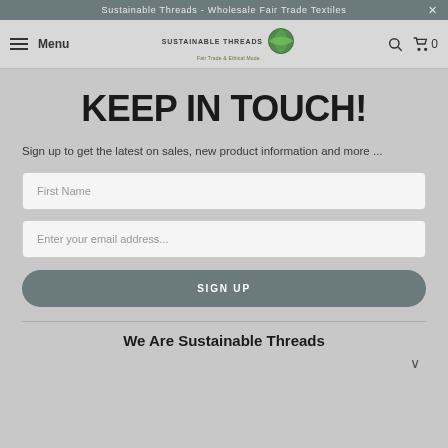Sustainable Threads - Wholesale Fair Trade Textiles
[Figure (logo): Sustainable Threads logo with green globe icon and text 'SUSTAINABLE THREADS - Fair Trade & Ethical Mode']
KEEP IN TOUCH!
Sign up to get the latest on sales, new product information and more ...
First Name
Enter your email address...
SIGN UP
We Are Sustainable Threads